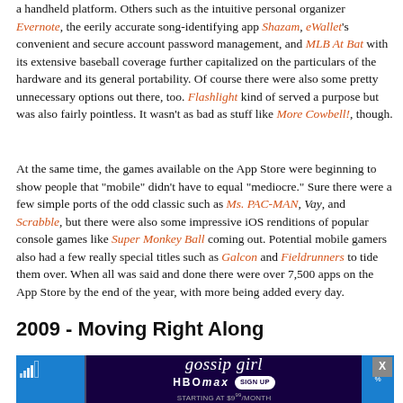a handheld platform. Others such as the intuitive personal organizer Evernote, the eerily accurate song-identifying app Shazam, eWallet's convenient and secure account password management, and MLB At Bat with its extensive baseball coverage further capitalized on the particulars of the hardware and its general portability. Of course there were also some pretty unnecessary options out there, too. Flashlight kind of served a purpose but was also fairly pointless. It wasn't as bad as stuff like More Cowbell!, though.
At the same time, the games available on the App Store were beginning to show people that "mobile" didn't have to equal "mediocre." Sure there were a few simple ports of the odd classic such as Ms. PAC-MAN, Vay, and Scrabble, but there were also some impressive iOS renditions of popular console games like Super Monkey Ball coming out. Potential mobile gamers also had a few really special titles such as Galcon and Fieldrunners to tide them over. When all was said and done there were over 7,500 apps on the App Store by the end of the year, with more being added every day.
2009 - Moving Right Along
[Figure (screenshot): Advertisement for Gossip Girl on HBO Max, showing 'SIGN UP STARTING AT $9.99/MONTH' on a dark purple background, with a phone status bar visible on the left side. An X close button is visible in the top right.]